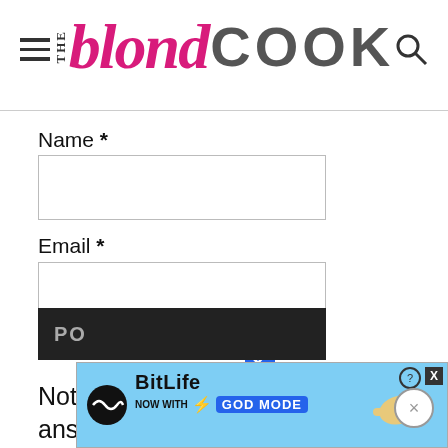THE blond COOK
Name *
Email *
Notify me via e-mail if anyone answers my comment.
[Figure (screenshot): BitLife ad banner: 'NOW WITH GOD MODE']
PO